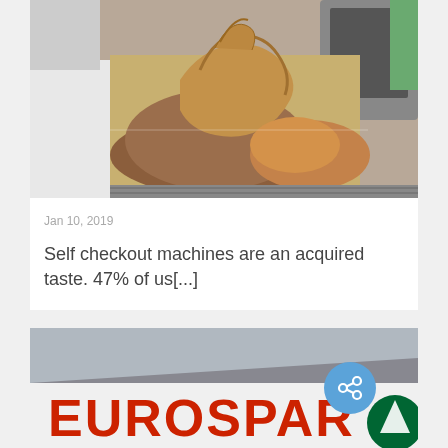[Figure (photo): Photo of bread/bakery items in a paper bag on a self-checkout machine scanner belt]
Jan 10, 2019
Self checkout machines are an acquired taste. 47% of us[...]
[Figure (photo): Photo of a EUROSPAR store sign with red letters on white background, Spar logo visible]